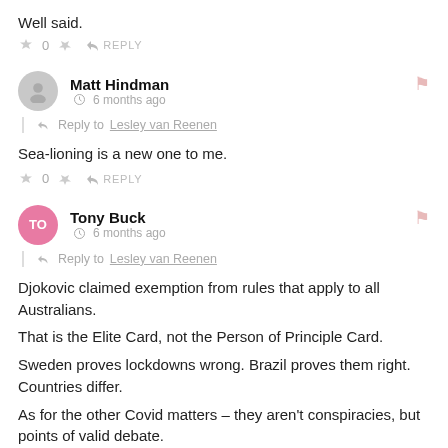Well said.
👍 0 👎 ➜ REPLY
Matt Hindman  🕐 6 months ago
Reply to Lesley van Reenen
Sea-lioning is a new one to me.
👍 0 👎 ➜ REPLY
Tony Buck  🕐 6 months ago
Reply to Lesley van Reenen
Djokovic claimed exemption from rules that apply to all Australians.
That is the Elite Card, not the Person of Principle Card.
Sweden proves lockdowns wrong. Brazil proves them right. Countries differ.
As for the other Covid matters – they aren't conspiracies, but points of valid debate.
👍 2 👎 ➜ REPLY